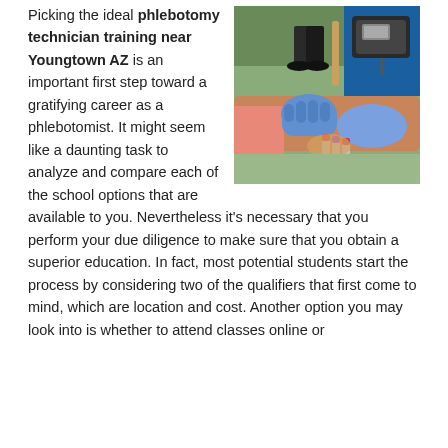[Figure (photo): A phlebotomist wearing blue latex gloves drawing blood from a patient's arm. A blood pressure cuff is visible on the patient's upper arm. Multiple blood collection tubes are visible.]
Picking the ideal phlebotomy technician training near Youngtown AZ is an important first step toward a gratifying career as a phlebotomist. It might seem like a daunting task to analyze and compare each of the school options that are available to you. Nevertheless it's necessary that you perform your due diligence to make sure that you obtain a superior education. In fact, most potential students start the process by considering two of the qualifiers that first come to mind, which are location and cost. Another option you may look into is whether to attend classes online or